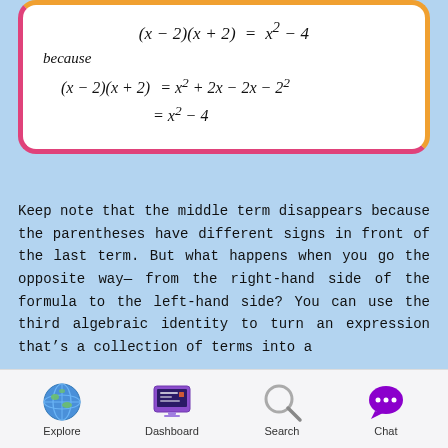because
Keep note that the middle term disappears because the parentheses have different signs in front of the last term. But what happens when you go the opposite way— from the right-hand side of the formula to the left-hand side? You can use the third algebraic identity to turn an expression that's a collection of terms into a
Explore  Dashboard  Search  Chat